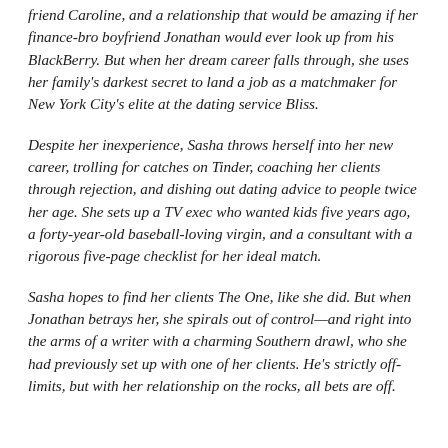friend Caroline, and a relationship that would be amazing if her finance-bro boyfriend Jonathan would ever look up from his BlackBerry. But when her dream career falls through, she uses her family's darkest secret to land a job as a matchmaker for New York City's elite at the dating service Bliss.
Despite her inexperience, Sasha throws herself into her new career, trolling for catches on Tinder, coaching her clients through rejection, and dishing out dating advice to people twice her age. She sets up a TV exec who wanted kids five years ago, a forty-year-old baseball-loving virgin, and a consultant with a rigorous five-page checklist for her ideal match.
Sasha hopes to find her clients The One, like she did. But when Jonathan betrays her, she spirals out of control—and right into the arms of a writer with a charming Southern drawl, who she had previously set up with one of her clients. He's strictly off-limits, but with her relationship on the rocks, all bets are off.